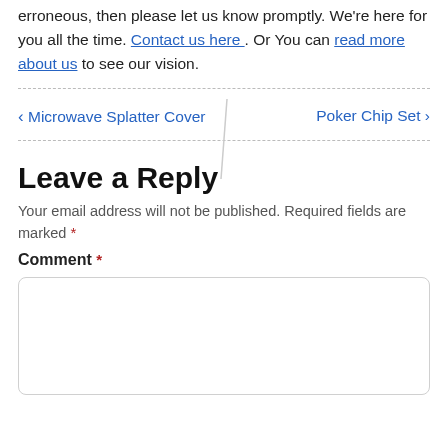erroneous, then please let us know promptly. We're here for you all the time. Contact us here . Or You can read more about us to see our vision.
< Microwave Splatter Cover    Poker Chip Set >
Leave a Reply
Your email address will not be published. Required fields are marked *
Comment *